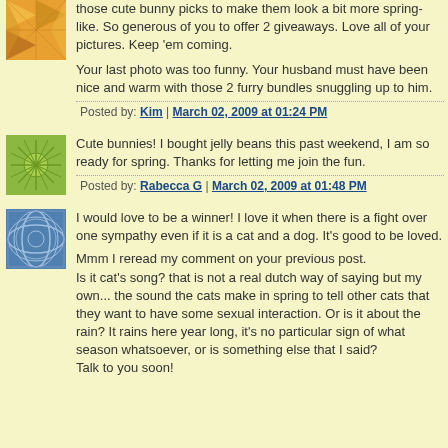those cute bunny picks to make them look a bit more spring-like. So generous of you to offer 2 giveaways. Love all of your pictures. Keep 'em coming.

Your last photo was too funny. Your husband must have been nice and warm with those 2 furry bundles snuggling up to him.
Posted by: Kim | March 02, 2009 at 01:24 PM
Cute bunnies! I bought jelly beans this past weekend, I am so ready for spring. Thanks for letting me join the fun.
Posted by: Rabecca G | March 02, 2009 at 01:48 PM
I would love to be a winner! I love it when there is a fight over one sympathy even if it is a cat and a dog. It's good to be loved.

Mmm I reread my comment on your previous post.
Is it cat's song? that is not a real dutch way of saying but my own... the sound the cats make in spring to tell other cats that they want to have some sexual interaction. Or is it about the rain? It rains here year long, it's no particular sign of what season whatsoever, or is something else that I said?
Talk to you soon!